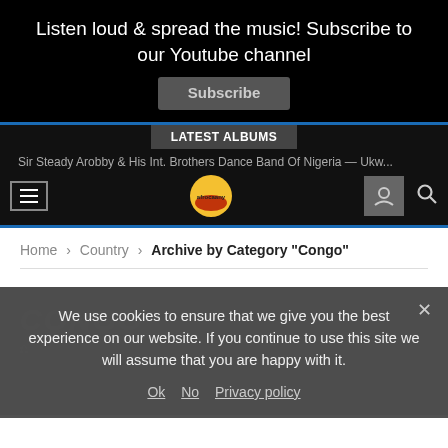Listen loud & spread the music! Subscribe to our Youtube channel
Subscribe
LATEST ALBUMS
Sir Steady Arobby & His Int. Brothers Dance Band Of Nigeria — Ukw...
Home > Country > Archive by Category "Congo"
CONGO
SORT BY: LATEST
We use cookies to ensure that we give you the best experience on our website. If you continue to use this site we will assume that you are happy with it.
Ok   No   Privacy policy